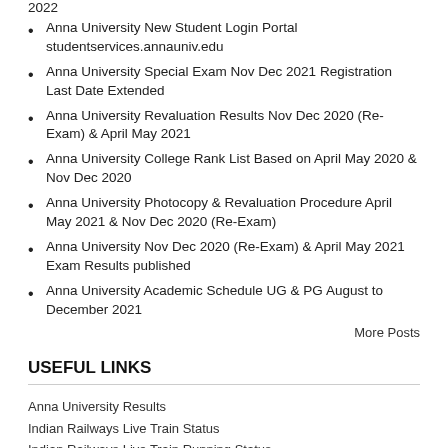2022
Anna University New Student Login Portal studentservices.annauniv.edu
Anna University Special Exam Nov Dec 2021 Registration Last Date Extended
Anna University Revaluation Results Nov Dec 2020 (Re-Exam) & April May 2021
Anna University College Rank List Based on April May 2020 & Nov Dec 2020
Anna University Photocopy & Revaluation Procedure April May 2021 & Nov Dec 2020 (Re-Exam)
Anna University Nov Dec 2020 (Re-Exam) & April May 2021 Exam Results published
Anna University Academic Schedule UG & PG August to December 2021
More Posts
USEFUL LINKS
Anna University Results
Indian Railways Live Train Status
Indian Railways Live Train Running Status